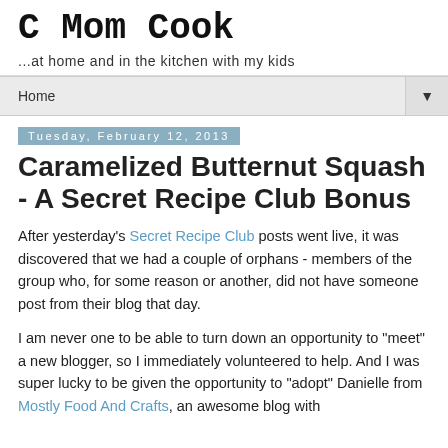C Mom Cook
...at home and in the kitchen with my kids
Home ▼
Tuesday, February 12, 2013
Caramelized Butternut Squash - A Secret Recipe Club Bonus
After yesterday's Secret Recipe Club posts went live, it was discovered that we had a couple of orphans - members of the group who, for some reason or another, did not have someone post from their blog that day.
I am never one to be able to turn down an opportunity to "meet" a new blogger, so I immediately volunteered to help. And I was super lucky to be given the opportunity to "adopt" Danielle from Mostly Food And Crafts, an awesome blog with